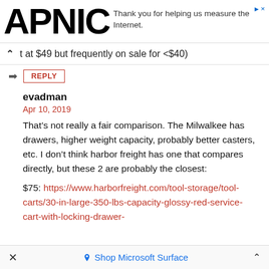[Figure (logo): APNIC logo with advertisement text: Thank you for helping us measure the Internet.]
t at $49 but frequently on sale for <$40)
REPLY
evadman
Apr 10, 2019
That’s not really a fair comparison. The Milwalkee has drawers, higher weight capacity, probably better casters, etc. I don’t think harbor freight has one that compares directly, but these 2 are probably the closest:
$75: https://www.harborfreight.com/tool-storage/tool-carts/30-in-large-350-lbs-capacity-glossy-red-service-cart-with-locking-drawer-
Shop Microsoft Surface